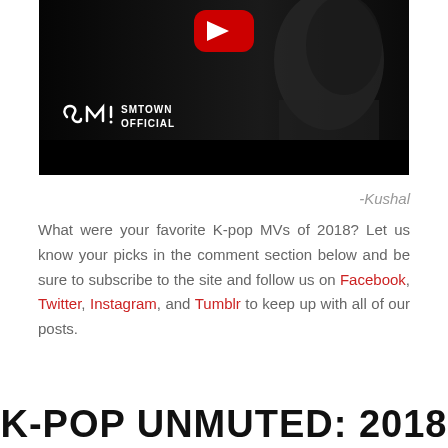[Figure (screenshot): YouTube video thumbnail showing SMTOWN OFFICIAL channel with a dark background, YouTube play button at top, and SMTOWN OFFICIAL logo with stylized S and M letters at bottom left.]
-Kushal
What were your favorite K-pop MVs of 2018? Let us know your picks in the comment section below and be sure to subscribe to the site and follow us on Facebook, Twitter, Instagram, and Tumblr to keep up with all of our posts.
K-POP UNMUTED: 2018